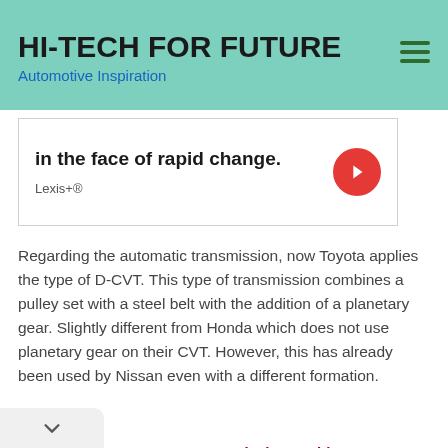HI-TECH FOR FUTURE — Automotive Inspiration
[Figure (screenshot): Advertisement banner showing text 'in the face of rapid change.' with a red circular arrow button and 'Lexis+®' brand text below]
Regarding the automatic transmission, now Toyota applies the type of D-CVT. This type of transmission combines a pulley set with a steel belt with the addition of a planetary gear. Slightly different from Honda which does not use planetary gear on their CVT. However, this has already been used by Nissan even with a different formation.
Read more: Toyota CVT Transmission Problems Due to 3 Wrong Habits